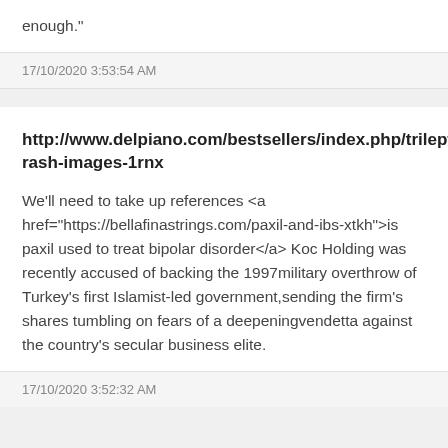enough."
17/10/2020 3:53:54 AM
http://www.delpiano.com/bestsellers/index.php/trileptal-rash-images-1rnx
We'll need to take up references <a href="https://bellafinastrings.com/paxil-and-ibs-xtkh">is paxil used to treat bipolar disorder</a> Koc Holding was recently accused of backing the 1997military overthrow of Turkey's first Islamist-led government,sending the firm's shares tumbling on fears of a deepeningvendetta against the country's secular business elite.
17/10/2020 3:52:32 AM